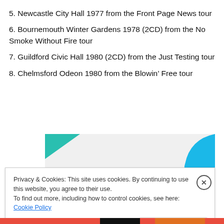5. Newcastle City Hall 1977 from the Front Page News tour
6. Bournemouth Winter Gardens 1978 (2CD) from the No Smoke Without Fire tour
7. Guildford Civic Hall 1980 (2CD) from the Just Testing tour
8. Chelmsford Odeon 1980 from the Blowin’ Free tour
[Figure (other): Advertisement banner: How to start selling subscriptions online, with teal triangle and blue curved shape]
Privacy & Cookies: This site uses cookies. By continuing to use this website, you agree to their use.
To find out more, including how to control cookies, see here: Cookie Policy
Close and accept